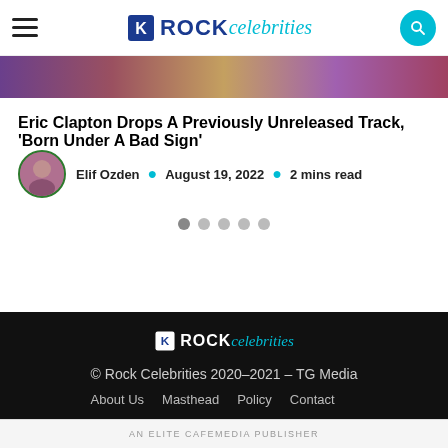Rock celebrities — navigation header with hamburger menu and search button
[Figure (photo): Hero image strip showing blurred colorful background, partial faces]
Eric Clapton Drops A Previously Unreleased Track, 'Born Under A Bad Sign'
Elif Ozden · August 19, 2022 · 2 mins read
[Figure (infographic): Slider pagination dots — 5 dots, first one active/darker]
[Figure (logo): Rock celebrities logo in footer (white/cyan on black background)]
© Rock Celebrities 2020-2021 – TG Media  About Us   Masthead   Policy   Contact
AN ELITE CAFEMEDIA PUBLISHER